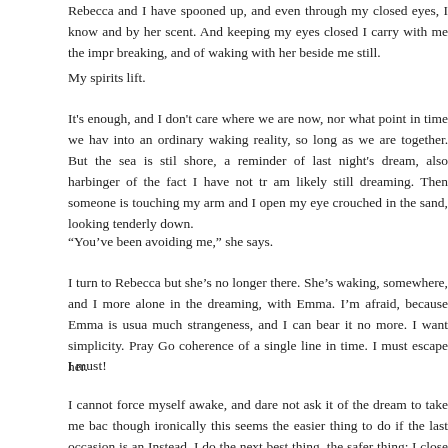Rebecca and I have spooned up, and even through my closed eyes, I know her by touch and by her scent. And keeping my eyes closed I carry with me the impression of day breaking, and of waking with her beside me still.
My spirits lift.
It's enough, and I don't care where we are now, nor what point in time we have wandered into an ordinary waking reality, so long as we are together. But the sea is still there, the shore, a reminder of last night's dream, also harbinger of the fact I have not truly woken, am likely still dreaming. Then someone is touching my arm and I open my eyes to Emma, crouched in the sand, looking tenderly down.
“You’ve been avoiding me,” she says.
I turn to Rebecca but she’s no longer there. She’s waking, somewhere, and I am once more alone in the dreaming, with Emma. I’m afraid, because Emma is usually a harbinger of much strangeness, and I can bear it no more. I want simplicity. Pray God, the coherence of a single line in time. I must escape her.
I must!
I cannot force myself awake, and dare not ask it of the dream to take me back to before, though ironically this seems the easier thing to do if the last occasion is anything to go by. Instead, I do the next best thing, the safer thing; I close my eyes and ask it of the dream a change of scene. But even as I feel the giddiness of the transition, I am aware of a hand upon my arm; it is therefore no surprise when I open them to find she’s still with me.
“You can’t just dream me away, you know,” she says.